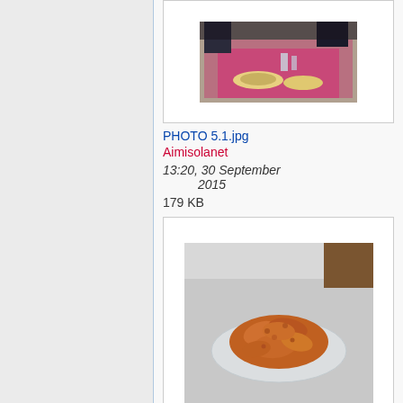[Figure (photo): Photo of a dining table with pink tablecloth, plates and food, people in background]
PHOTO 5.1.jpg
Aimisolanet
13:20, 30 September 2015
179 KB
[Figure (photo): Photo of fried chicken wings on a glass plate on a white surface]
PHOTO 4.JPG
Aimisolanet
13:20, 30 September 2015